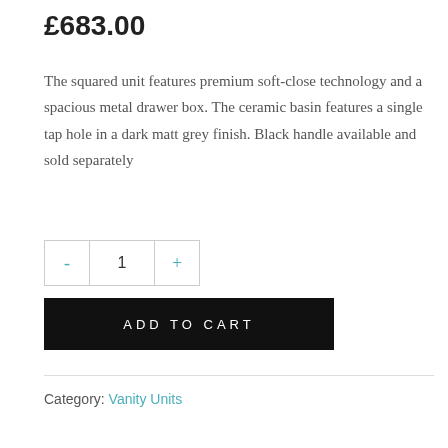£683.00
The squared unit features premium soft-close technology and a spacious metal drawer box. The ceramic basin features a single tap hole in a dark matt grey finish. Black handle available and sold separately
- 1 + [quantity selector]
ADD TO CART
Category: Vanity Units